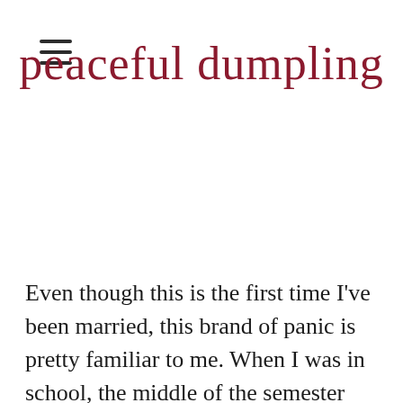≡
peaceful dumpling
Even though this is the first time I've been married, this brand of panic is pretty familiar to me. When I was in school, the middle of the semester would find me a flustered mess. It didn't matter that I was